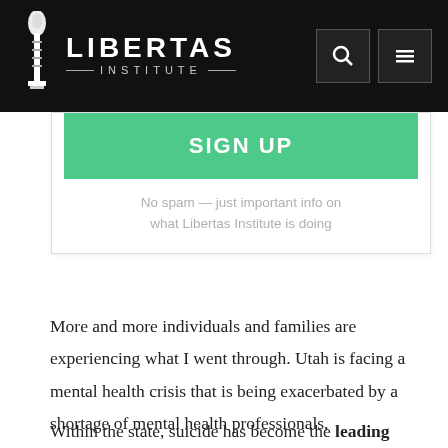LIBERTAS INSTITUTE
[Figure (screenshot): Sign up button (green) for Libertas Institute newsletter with note 'No spam — just important info on what Libertas Institute is doing']
More and more individuals and families are experiencing what I went through. Utah is facing a mental health crisis that is being exacerbated by a shortage of mental health professionals, specifically psychologists, who can properly treat patients.
Within the state, suicide has become the leading cause